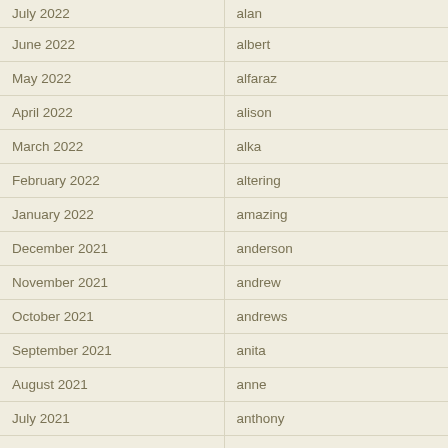July 2022
June 2022
May 2022
April 2022
March 2022
February 2022
January 2022
December 2021
November 2021
October 2021
September 2021
August 2021
July 2021
June 2021
May 2021
April 2021
alan
albert
alfaraz
alison
alka
altering
amazing
anderson
andrew
andrews
anita
anne
anthony
antique
antje
antonia